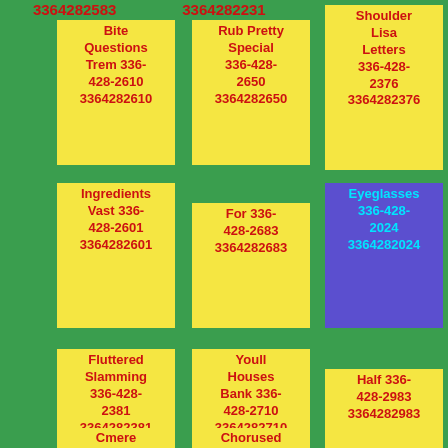3364282583  3364282231  3364282830
Bite Questions Trem 336-428-2610 3364282610
Rub Pretty Special 336-428-2650 3364282650
Shoulder Lisa Letters 336-428-2376 3364282376
Ingredients Vast 336-428-2601 3364282601
For 336-428-2683 3364282683
Eyeglasses 336-428-2024 3364282024
Fluttered Slamming 336-428-2381 3364282381
Youll Houses Bank 336-428-2710 3364282710
Half 336-428-2983 3364282983
Cmere
Chorused